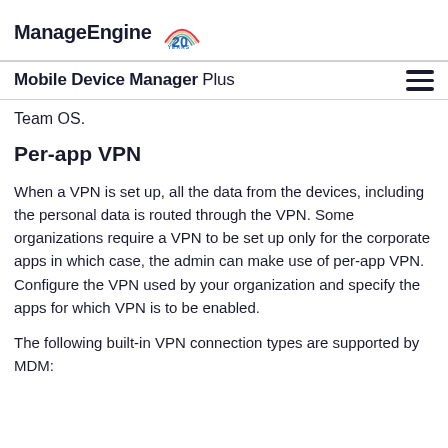ManageEngine 20 YEARS | Mobile Device Manager Plus
Team OS.
Per-app VPN
When a VPN is set up, all the data from the devices, including the personal data is routed through the VPN. Some organizations require a VPN to be set up only for the corporate apps in which case, the admin can make use of per-app VPN.
Configure the VPN used by your organization and specify the apps for which VPN is to be enabled.
The following built-in VPN connection types are supported by MDM: